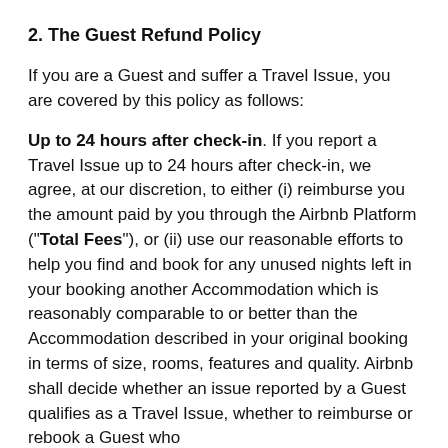2. The Guest Refund Policy
If you are a Guest and suffer a Travel Issue, you are covered by this policy as follows:
Up to 24 hours after check-in. If you report a Travel Issue up to 24 hours after check-in, we agree, at our discretion, to either (i) reimburse you the amount paid by you through the Airbnb Platform (“Total Fees”), or (ii) use our reasonable efforts to help you find and book for any unused nights left in your booking another Accommodation which is reasonably comparable to or better than the Accommodation described in your original booking in terms of size, rooms, features and quality. Airbnb shall decide whether an issue reported by a Guest qualifies as a Travel Issue, whether to reimburse or rebook a Guest who suffers a Travel Issue, and the allowance and